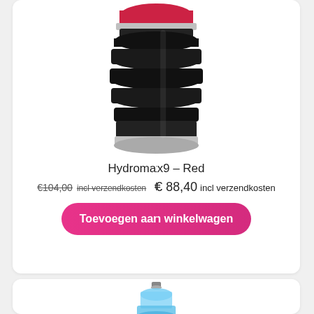[Figure (photo): Black ribbed cylindrical product (Hydromax9 Red) with red top cap and silver ring, viewed from above at an angle]
Hydromax9 – Red
€104,00 incl verzendkosten  € 88,40 incl verzendkosten
Toevoegen aan winkelwagen
[Figure (photo): Light blue transparent cylindrical product partially visible at bottom of page]